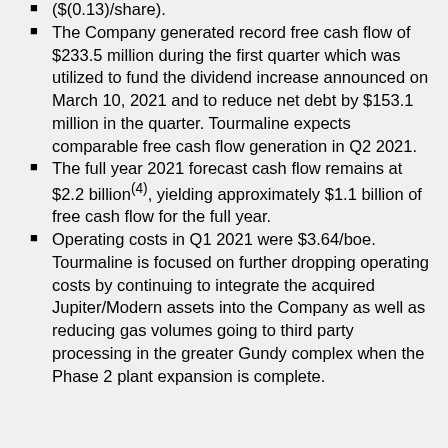($( 0.13)/share).
The Company generated record free cash flow of $233.5 million during the first quarter which was utilized to fund the dividend increase announced on March 10, 2021 and to reduce net debt by $153.1 million in the quarter. Tourmaline expects comparable free cash flow generation in Q2 2021.
The full year 2021 forecast cash flow remains at $2.2 billion(4), yielding approximately $1.1 billion of free cash flow for the full year.
Operating costs in Q1 2021 were $3.64/boe. Tourmaline is focused on further dropping operating costs by continuing to integrate the acquired Jupiter/Modern assets into the Company as well as reducing gas volumes going to third party processing in the greater Gundy complex when the Phase 2 plant expansion is complete.